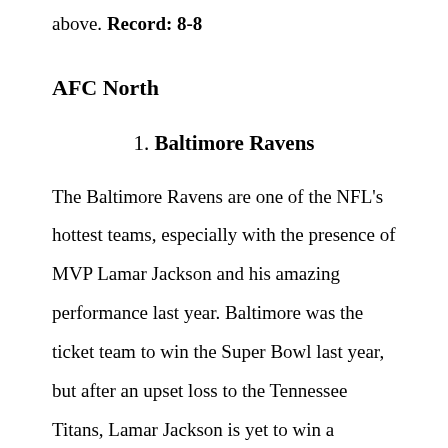above. Record: 8-8
AFC North
1. Baltimore Ravens
The Baltimore Ravens are one of the NFL's hottest teams, especially with the presence of MVP Lamar Jackson and his amazing performance last year. Baltimore was the ticket team to win the Super Bowl last year, but after an upset loss to the Tennessee Titans, Lamar Jackson is yet to win a